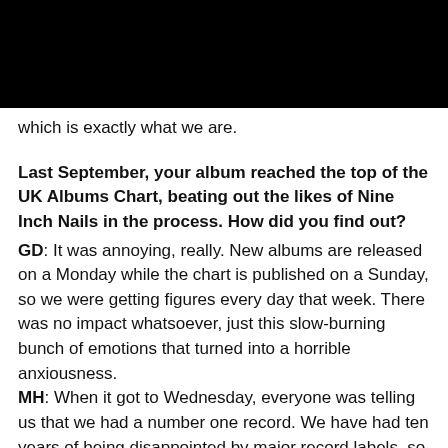which is exactly what we are.
Last September, your album reached the top of the UK Albums Chart, beating out the likes of Nine Inch Nails in the process. How did you find out?
GD: It was annoying, really. New albums are released on a Monday while the chart is published on a Sunday, so we were getting figures every day that week. There was no impact whatsoever, just this slow-burning bunch of emotions that turned into a horrible anxiousness.
MH: When it got to Wednesday, everyone was telling us that we had a number one record. We have had ten years of being disappointed by major record labels, so we told everyone to hold on. We found out that we'd beaten Nine